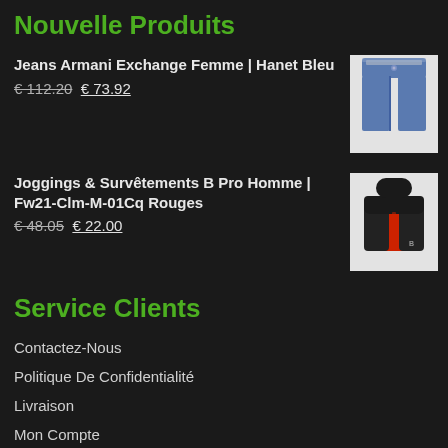Nouvelle Produits
Jeans Armani Exchange Femme | Hanet Bleu
€ 112.20 € 73.92
[Figure (photo): Blue jeans product photo on white background]
Joggings & Survêtements B Pro Homme | Fw21-Clm-M-01Cq Rouges
€ 48.05 € 22.00
[Figure (photo): Red and black jacket product photo on white background]
Service Clients
Contactez-Nous
Politique De Confidentialité
Livraison
Mon Compte